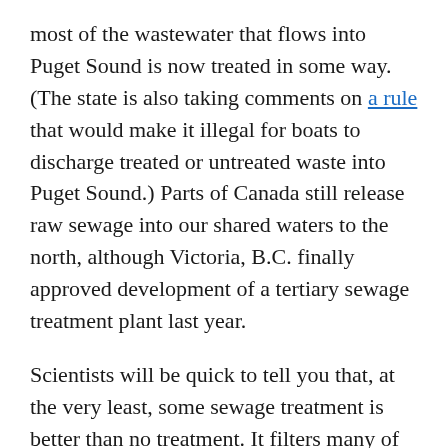most of the wastewater that flows into Puget Sound is now treated in some way. (The state is also taking comments on a rule that would make it illegal for boats to discharge treated or untreated waste into Puget Sound.) Parts of Canada still release raw sewage into our shared waters to the north, although Victoria, B.C. finally approved development of a tertiary sewage treatment plant last year.
Scientists will be quick to tell you that, at the very least, some sewage treatment is better than no treatment. It filters many of the potential pathogens that can come with raw sewage and a whole lot more. But what about those nutrients?
What most of Puget Sound's sewage treatment plants don't remove — at least to a significant